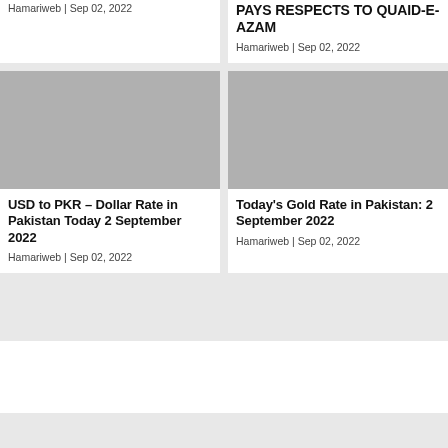Hamariweb | Sep 02, 2022
PAYS RESPECTS TO QUAID-E-AZAM
Hamariweb | Sep 02, 2022
[Figure (photo): Gray placeholder image for USD to PKR article]
USD to PKR – Dollar Rate in Pakistan Today 2 September 2022
Hamariweb | Sep 02, 2022
[Figure (photo): Gray placeholder image for Today's Gold Rate article]
Today's Gold Rate in Pakistan: 2 September 2022
Hamariweb | Sep 02, 2022